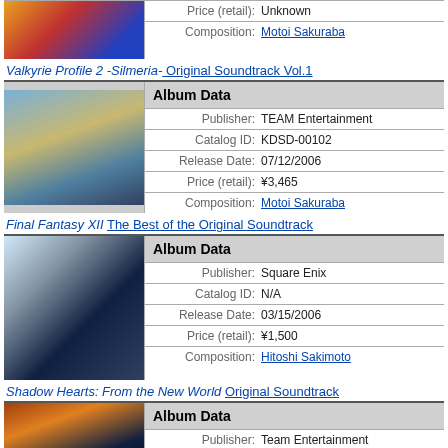[Figure (photo): Top partial album cover image (previous album, cut off at top)]
| Field | Value |
| --- | --- |
| Price (retail): | Unknown |
| Composition: | Motoi Sakuraba |
Valkyrie Profile 2 -Silmeria- Original Soundtrack Vol.1
[Figure (photo): Valkyrie Profile 2 -Silmeria- Original Soundtrack Vol.1 album cover art]
| Field | Value |
| --- | --- |
| Publisher: | TEAM Entertainment |
| Catalog ID: | KDSD-00102 |
| Release Date: | 07/12/2006 |
| Price (retail): | ¥3,465 |
| Composition: | Motoi Sakuraba |
Final Fantasy XII The Best of the Original Soundtrack
[Figure (photo): Final Fantasy XII The Best of the Original Soundtrack album cover art]
| Field | Value |
| --- | --- |
| Publisher: | Square Enix |
| Catalog ID: | N/A |
| Release Date: | 03/15/2006 |
| Price (retail): | ¥1,500 |
| Composition: | Hitoshi Sakimoto |
Shadow Hearts: From the New World Original Soundtrack
[Figure (photo): Shadow Hearts: From the New World Original Soundtrack album cover art (partial)]
| Field | Value |
| --- | --- |
| Publisher: | Team Entertainment |
| Catalog ID: | KDSD-00078 |